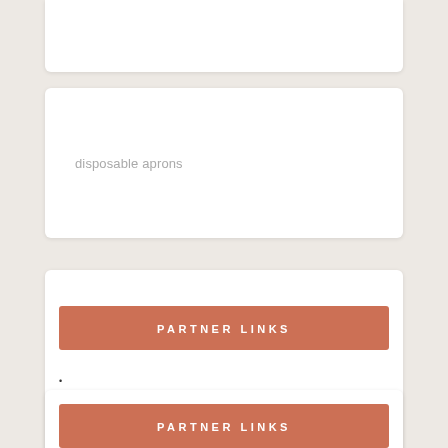disposable aprons
PARTNER LINKS
•
Partner links
PARTNER LINKS